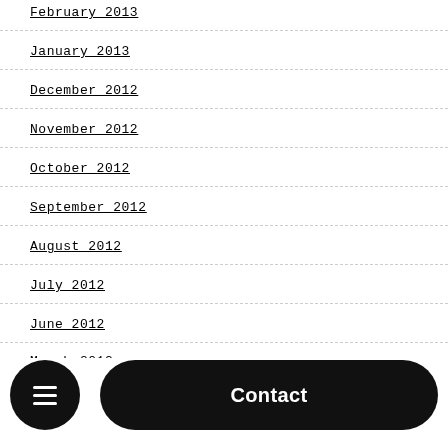February 2013
January 2013
December 2012
November 2012
October 2012
September 2012
August 2012
July 2012
June 2012
March 2012
Contact